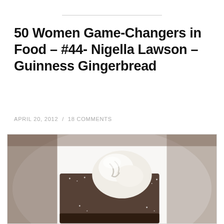50 Women Game-Changers in Food – #44- Nigella Lawson – Guinness Gingerbread
APRIL 20, 2012  /  18 COMMENTS
[Figure (photo): A square piece of dark Guinness gingerbread dusted with powdered sugar topped with a large scoop of white cream or ice cream, served on a white plate.]